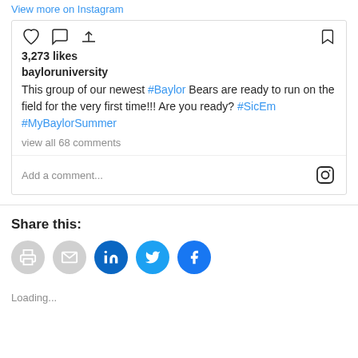View more on Instagram
[Figure (screenshot): Instagram post action icons: heart, comment, share, bookmark]
3,273 likes
bayloruniversity
This group of our newest #Baylor Bears are ready to run on the field for the very first time!!! Are you ready? #SicEm #MyBaylorSummer
view all 68 comments
Add a comment...
Share this:
[Figure (infographic): Social share buttons: print, email, LinkedIn, Twitter, Facebook]
Loading...